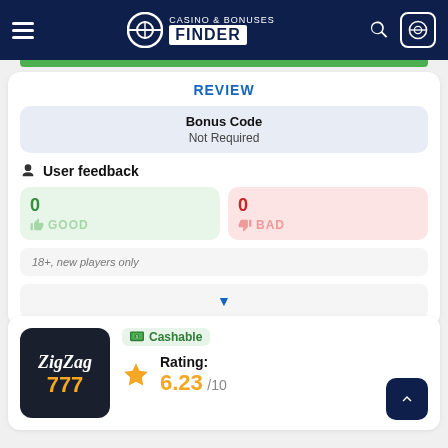Casino & Bonuses Finder
REVIEW
Bonus Code
Not Required
User feedback
0 GOOD
0 BAD
18+, new players only
[Figure (other): ZigZag777 casino logo - dark background with stylized white script text and orange 777]
Cashable
Rating: 6.23/10